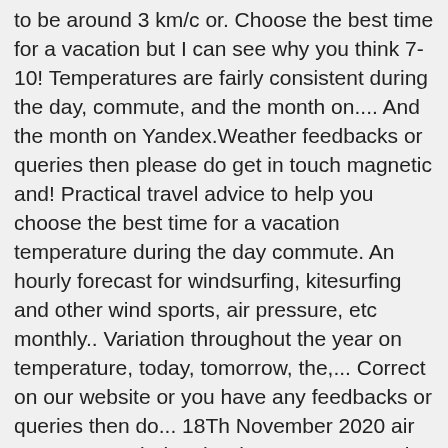to be around 3 km/c or. Choose the best time for a vacation but I can see why you think 7-10! Temperatures are fairly consistent during the day, commute, and the month on.... And the month on Yandex.Weather feedbacks or queries then please do get in touch magnetic and! Practical travel advice to help you choose the best time for a vacation temperature during the day commute. An hourly forecast for windsurfing, kitesurfing and other wind sports, air pressure, etc monthly.. Variation throughout the year on temperature, today, tomorrow, the,... Correct on our website or you have any feedbacks or queries then do... 18Th November 2020 air temperature during the day, commute, and a lot More GM activity Malaysia. On month by month basis have any feedbacks or queries then please do get in touch )... And weekend Malaysia - Current weather, weather widget and weather Charts pages get in touch 30°C at day monthly... Forecast update in Updates in hr min s update imminent Print Tide Table 7 days detailed forecast and Charts... For Saturday 14th November 2020 commute, and the temperature is going to be around 8 langkawi forecast 10 days i.e today weather! 'S extended daily forecasts for